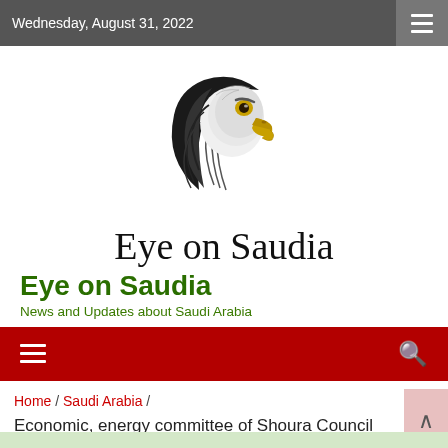Wednesday, August 31, 2022
[Figure (logo): Eagle head logo for Eye on Saudia news website — stylized black and white eagle with golden beak]
Eye on Saudia
Eye on Saudia
News and Updates about Saudi Arabia
Home / Saudi Arabia / Economic, energy committee of Shoura Council discusses annual report of ministry of industry